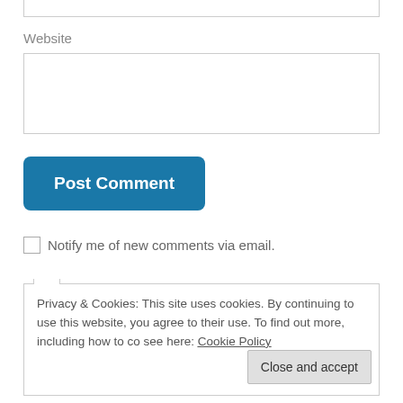Website
[Figure (screenshot): Website input text box (empty)]
[Figure (screenshot): Post Comment button (blue, rounded)]
Notify me of new comments via email.
Privacy & Cookies: This site uses cookies. By continuing to use this website, you agree to their use. To find out more, including how to control cookies, see here: Cookie Policy
Close and accept